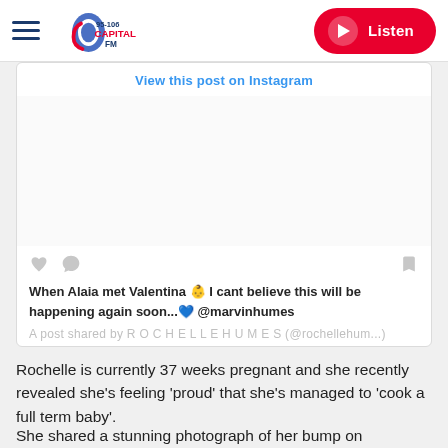Capital FM 95-106 | Listen
[Figure (screenshot): Instagram embed card showing a post by ROCHELLE HUMES (@rochellehum...) with the caption: When Alaia met Valentina 👶 I cant believe this will be happening again soon...💙 @marvinhumes. Includes a 'View this post on Instagram' link, heart and comment icons, and a bookmark icon.]
Rochelle is currently 37 weeks pregnant and she recently revealed she’s feeling ‘proud’ that she’s managed to ‘cook a full term baby’.
She shared a stunning photograph of her bump on